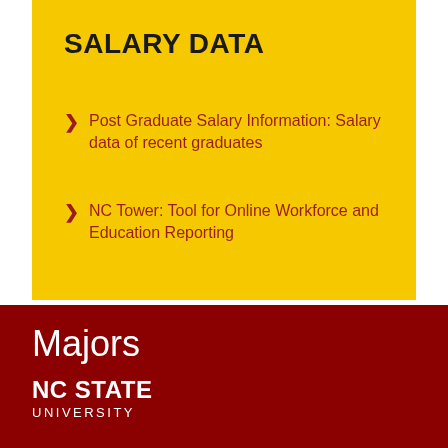SALARY DATA
Post Graduate Salary Information: Salary data of recent graduates
NC Tower: Tool for Online Workforce and Education Reporting
Majors
[Figure (logo): NC State University logo in white text on dark red background]
NC STATE UNIVERSITY